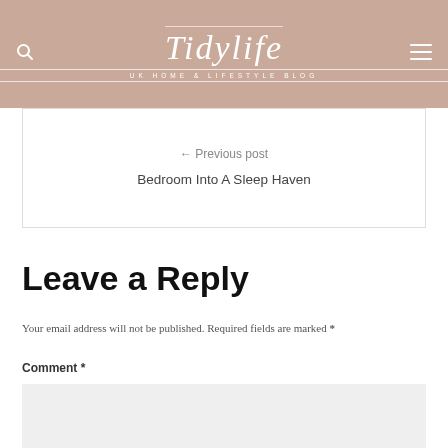TidyLife | UK HOME & LIFESTYLE BLOG
Bedroom Into A Sleep Haven
Leave a Reply
Your email address will not be published. Required fields are marked *
Comment *